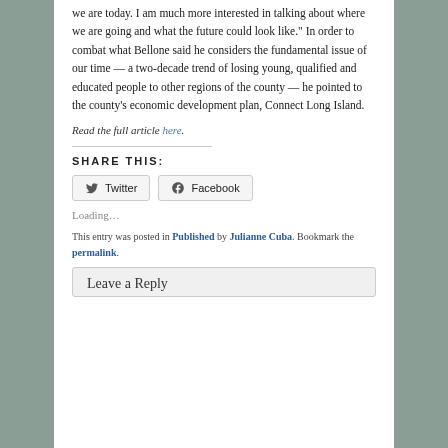we are today. I am much more interested in talking about where we are going and what the future could look like.” In order to combat what Bellone said he considers the fundamental issue of our time — a two-decade trend of losing young, qualified and educated people to other regions of the county — he pointed to the county’s economic development plan, Connect Long Island.
Read the full article here.
SHARE THIS:
Twitter  Facebook
Loading…
This entry was posted in Published by Julianne Cuba. Bookmark the permalink.
Leave a Reply